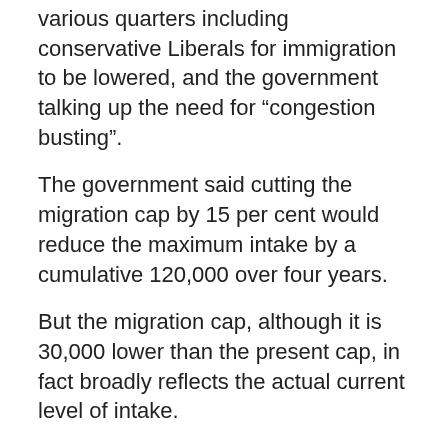various quarters including conservative Liberals for immigration to be lowered, and the government talking up the need for “congestion busting”.
The government said cutting the migration cap by 15 per cent would reduce the maximum intake by a cumulative 120,000 over four years.
But the migration cap, although it is 30,000 lower than the present cap, in fact broadly reflects the actual current level of intake.
Last year permanent migration fell to its lowest level in a decade as a result of visa and other tightening.
Two new regional visas will be introduced for skilled workers, requiring them to live and work in regional areas for three years before being eligible to access permanent residence.